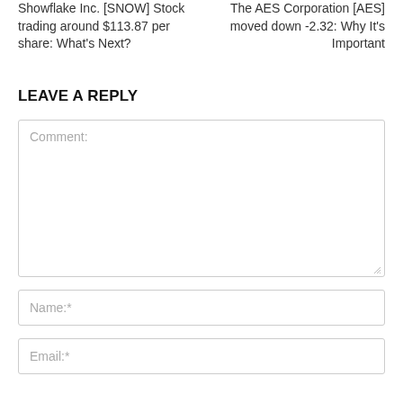Showflake Inc. [SNOW] Stock trading around $113.87 per share: What's Next?
The AES Corporation [AES] moved down -2.32: Why It's Important
LEAVE A REPLY
Comment:
Name:*
Email:*